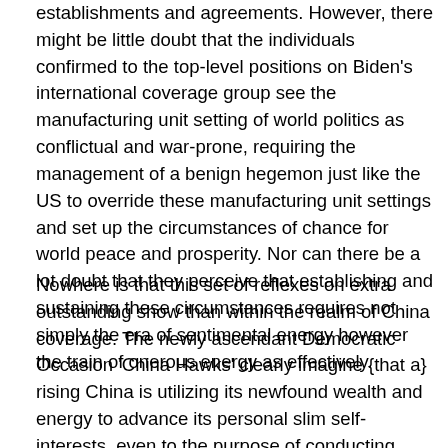establishments and agreements. However, there might be little doubt that the individuals confirmed to the top-level positions on Biden's international coverage group see the manufacturing unit setting of world politics as conflictual and war-prone, requiring the management of a benign hegemon just like the US to override these manufacturing unit settings and set up the circumstances of chance for world peace and prosperity. Nor can there be a lot doubt that they perceive that establishing and sustaining these circumstances requires not simply the era of sentimental energy however the train of onerous energy as effectively.
Nowhere is that this set of reflexes on extra outstanding show than within the realm of China coverage. The newly ascendant Democratic Occasion 'China Hawks' clearly imagine {that a} rising China is utilizing its newfound wealth and energy to advance its personal slim self-interests, even to the purpose of conducting liminal warfare in locations just like the South